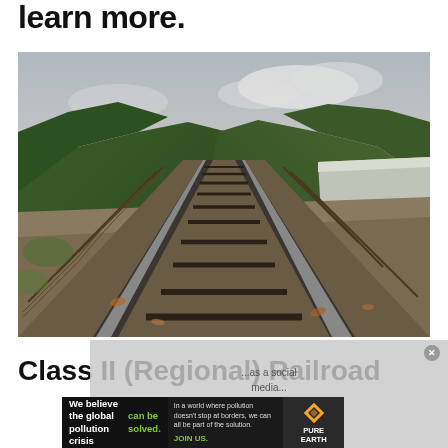learn more.
[Figure (photo): Photograph of a railroad track stretching into the distance, surrounded by green forested hills on both sides, overcast sky, gravel trackbed with wooden ties and metal rails, fence posts visible on both sides.]
Class II (Regional) Railroad
[Figure (other): Advertisement overlay: Pure Earth ad banner with text 'We believe the global pollution crisis can be solved.' and 'In a world where pollution doesn't stop at borders, we can all be part of the solution. JOIN US.' with Pure Earth logo.]